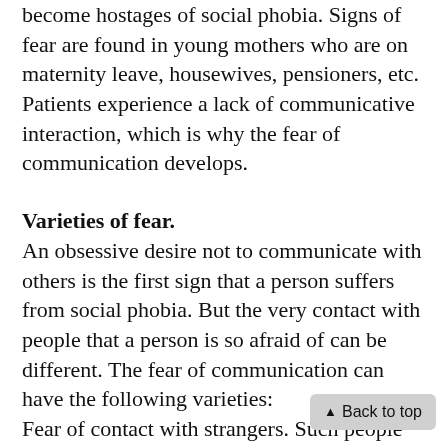become hostages of social phobia. Signs of fear are found in young mothers who are on maternity leave, housewives, pensioners, etc. Patients experience a lack of communicative interaction, which is why the fear of communication develops.
Varieties of fear.
An obsessive desire not to communicate with others is the first sign that a person suffers from social phobia. But the very contact with people that a person is so afraid of can be different. The fear of communication can have the following varieties: Fear of contact with strangers. Such people can talk for hours with their loved ones, friends and colleagues, but feel insecure and uncomfortable when talking to strangers. Fear of contact with the opposite sex. Such a phobia is based on a complex personality. Boys and girls are shy to meet and communicate with representatives of the opposite sex, more often because of the failures experienced on the “love front”. communication with peers. Such a fear is rarely